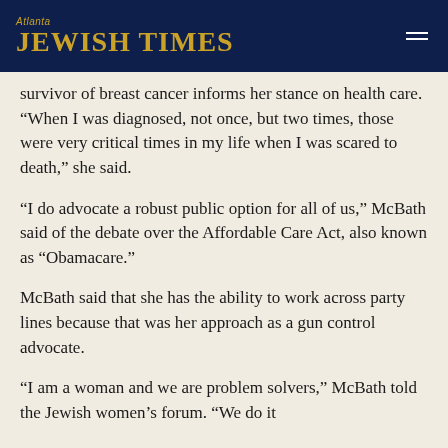Atlanta JEWISH TIMES
survivor of breast cancer informs her stance on health care. “When I was diagnosed, not once, but two times, those were very critical times in my life when I was scared to death,” she said.
“I do advocate a robust public option for all of us,” McBath said of the debate over the Affordable Care Act, also known as “Obamacare.”
McBath said that she has the ability to work across party lines because that was her approach as a gun control advocate.
“I am a woman and we are problem solvers,” McBath told the Jewish women’s forum. “We do it